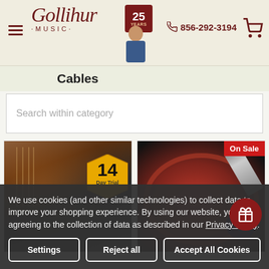Gollihur Music | 25 Years | 856-292-3194
Cables
Search within category
[Figure (photo): Product photo of instrument/cable with 14 Day Trial badge]
[Figure (photo): Product photo of red cable reel with On Sale badge]
We use cookies (and other similar technologies) to collect data to improve your shopping experience. By using our website, you're agreeing to the collection of data as described in our Privacy Policy.
Settings | Reject all | Accept All Cookies